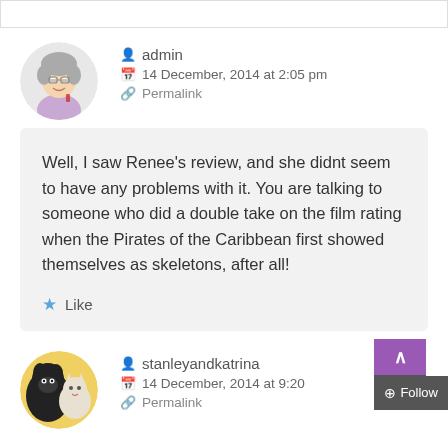admin
14 December, 2014 at 2:05 pm
Permalink
Well, I saw Renee's review, and she didnt seem to have any problems with it. You are talking to someone who did a double take on the film rating when the Pirates of the Caribbean first showed themselves as skeletons, after all!
Like
stanleyandkatrina
14 December, 2014 at 9:20
Permalink